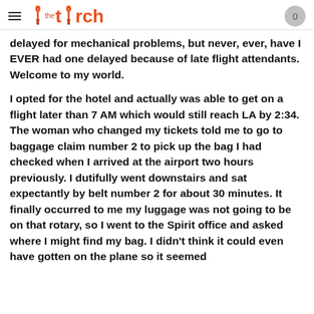the torch
delayed for mechanical problems, but never, ever, have I EVER had one delayed because of late flight attendants. Welcome to my world.

I opted for the hotel and actually was able to get on a flight later than 7 AM which would still reach LA by 2:34. The woman who changed my tickets told me to go to baggage claim number 2 to pick up the bag I had checked when I arrived at the airport two hours previously. I dutifully went downstairs and sat expectantly by belt number 2 for about 30 minutes. It finally occurred to me my luggage was not going to be on that rotary, so I went to the Spirit office and asked where I might find my bag. I didn't think it could even have gotten on the plane so it seemed